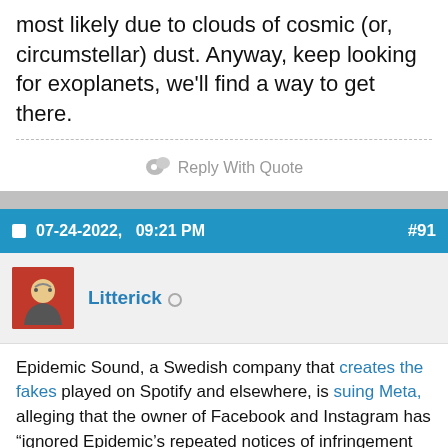most likely due to clouds of cosmic (or, circumstellar) dust. Anyway, keep looking for exoplanets, we'll find a way to get there.
Reply With Quote
07-24-2022,   09:21 PM   #91
Litterick
Epidemic Sound, a Swedish company that creates the fakes played on Spotify and elsewhere, is suing Meta, alleging that the owner of Facebook and Instagram has “ignored Epidemic’s repeated notices of infringement and requests for access to the tools that would help stop the infringement”. Epidemic further claims that Meta “has created tools”...